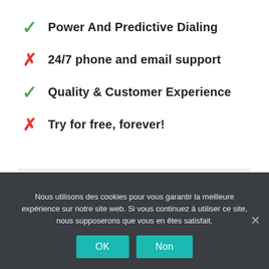✓ Power And Predictive Dialing
✗ 24/7 phone and email support
✓ Quality & Customer Experience
✗ Try for free, forever!
$46 / monthly
Nous utilisons des cookies pour vous garantir la meilleure expérience sur notre site web. Si vous continuez à utiliser ce site, nous supposerons que vous en êtes satisfait.